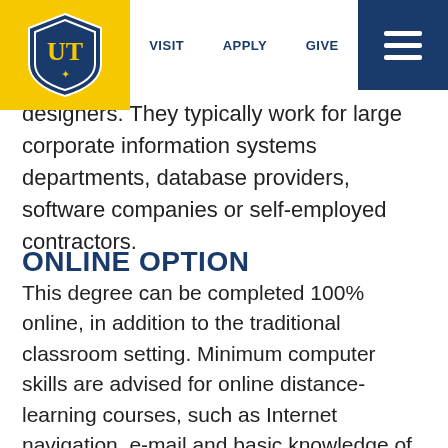VISIT   APPLY   GIVE
designers. They typically work for large corporate information systems departments, database providers, software companies or self-employed contractors.
ONLINE OPTION
This degree can be completed 100% online, in addition to the traditional classroom setting. Minimum computer skills are advised for online distance-learning courses, such as Internet navigation, e-mail and basic knowledge of Microsoft Office.